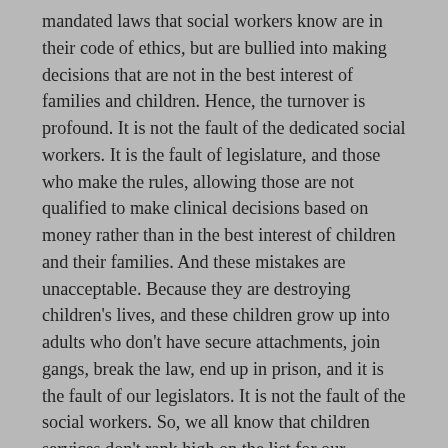mandated laws that social workers know are in their code of ethics, but are bullied into making decisions that are not in the best interest of families and children. Hence, the turnover is profound. It is not the fault of the dedicated social workers. It is the fault of legislature, and those who make the rules, allowing those are not qualified to make clinical decisions based on money rather than in the best interest of children and their families. And these mistakes are unacceptable. Because they are destroying children's lives, and these children grow up into adults who don't have secure attachments, join gangs, break the law, end up in prison, and it is the fault of our legislators. It is not the fault of the social workers. So, we all know that children services don't rank high on the list for our legislators, but when they are so broken that they have gone into hiding and no longer have a conscience it affects our society as a whole. This